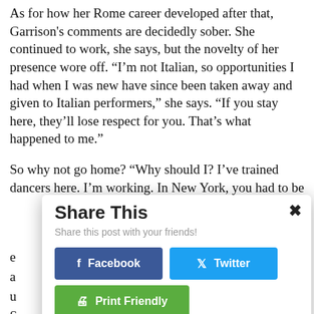As for how her Rome career developed after that, Garrison's comments are decidedly sober. She continued to work, she says, but the novelty of her presence wore off. “I’m not Italian, so opportunities I had when I was new have since been taken away and given to Italian performers,” she says. “If you stay here, they’ll lose respect for you. That’s what happened to me.”
So why not go home? “Why should I? I’ve trained dancers here. I’m working. In New York, you had to be e[...] a[...] u[...]
[Figure (screenshot): Share This modal overlay with title 'Share This', subtitle 'Share this post with your friends!', a close button (x), Facebook button, Twitter button, and Print Friendly button.]